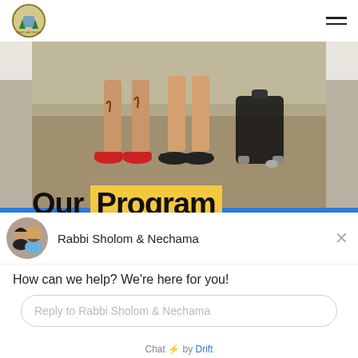Camp Gan Israel logo and navigation
[Figure (photo): Photo showing children's legs and feet with henna tattoos, wearing sandals and flat shoes, standing on carpet with a black rolling suitcase nearby]
Our Program
[Figure (screenshot): Drift chat widget showing avatar of Rabbi Sholom and Nechama with message: How can we help? We're here for you! and a reply input field. Footer: Chat by Drift]